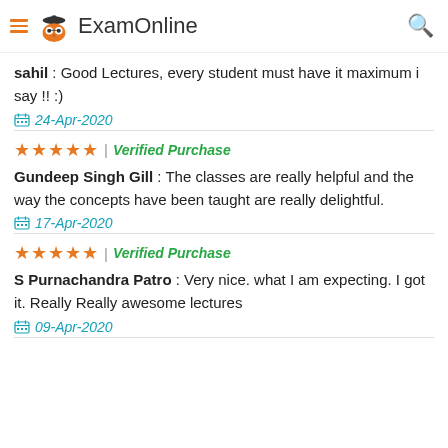ExamOnline
sahil : Good Lectures, every student must have it maximum i say !! :)
24-Apr-2020
★★★★★ | Verified Purchase
Gundeep Singh Gill : The classes are really helpful and the way the concepts have been taught are really delightful.
17-Apr-2020
★★★★★ | Verified Purchase
S Purnachandra Patro : Very nice. what I am expecting. I got it. Really Really awesome lectures
09-Apr-2020